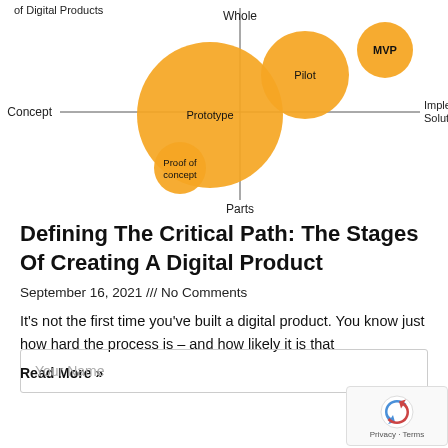[Figure (bubble-chart): Bubble chart showing digital product stages on two axes: Parts/Whole (vertical) and Concept/Implemented Solution (horizontal). Bubbles: Prototype (large, center), Pilot (medium, upper right of center), MVP (small, upper right), Proof of concept (small, lower left). Y-axis label at top: 'Whole', bottom: 'Parts'. X-axis label at left: 'Concept', right: 'Implemented Solution'. Top-left label: 'of Digital Products'.]
Defining The Critical Path: The Stages Of Creating A Digital Product
September 16, 2021 /// No Comments
It's not the first time you've built a digital product. You know just how hard the process is – and how likely it is that
Read More »